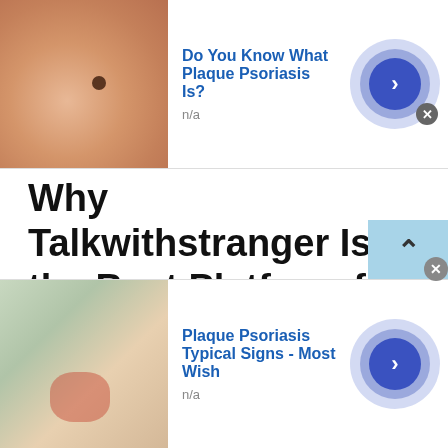[Figure (other): Top advertisement banner: thumbnail image of skin with mole, headline 'Do You Know What Plaque Psoriasis Is?', label 'n/a', blue circular arrow button, close X button]
Why Talkwithstranger Is the Best Platform for Peruvian Chat with Randoms
Peruvian Chat with Randoms , in fact, stranger chat in general has gained a lot of popularity among people from all over the world. This is because random chat applications or platforms, such as Chat with Strangers give everyone a chance to get in touch with interesting as well as attractive people. There are several reasons why
[Figure (other): Bottom advertisement banner: thumbnail image of skin condition, headline 'Plaque Psoriasis Typical Signs - Most Wish', label 'n/a', blue circular arrow button, close X button]